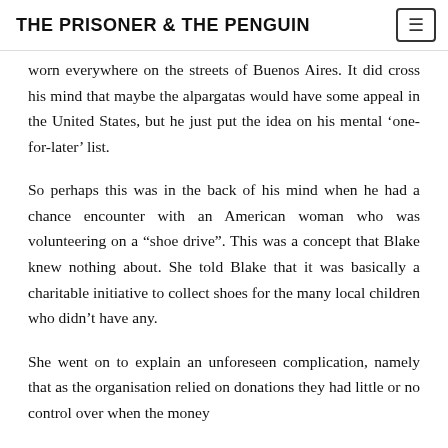THE PRISONER & THE PENGUIN
worn everywhere on the streets of Buenos Aires. It did cross his mind that maybe the alpargatas would have some appeal in the United States, but he just put the idea on his mental ‘one-for-later’ list.
So perhaps this was in the back of his mind when he had a chance encounter with an American woman who was volunteering on a “shoe drive”. This was a concept that Blake knew nothing about. She told Blake that it was basically a charitable initiative to collect shoes for the many local children who didn’t have any.
She went on to explain an unforeseen complication, namely that as the organisation relied on donations they had little or no control over when the money